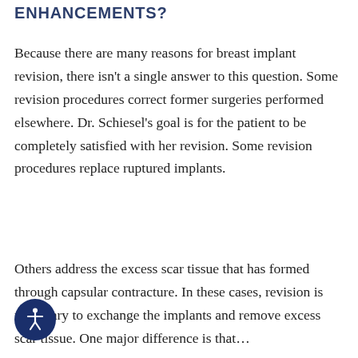ENHANCEMENTS?
Because there are many reasons for breast implant revision, there isn't a single answer to this question. Some revision procedures correct former surgeries performed elsewhere. Dr. Schiesel's goal is for the patient to be completely satisfied with her revision. Some revision procedures replace ruptured implants.
Others address the excess scar tissue that has formed through capsular contracture. In these cases, revision is necessary to exchange the implants and remove excess scar tissue. One major difference is that…